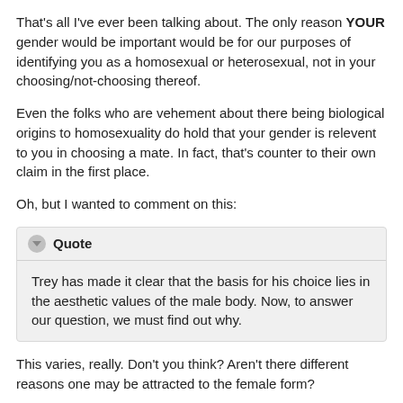That's all I've ever been talking about. The only reason YOUR gender would be important would be for our purposes of identifying you as a homosexual or heterosexual, not in your choosing/not-choosing thereof.
Even the folks who are vehement about there being biological origins to homosexuality do hold that your gender is relevent to you in choosing a mate. In fact, that's counter to their own claim in the first place.
Oh, but I wanted to comment on this:
Quote
Trey has made it clear that the basis for his choice lies in the aesthetic values of the male body. Now, to answer our question, we must find out why.
This varies, really. Don't you think? Aren't there different reasons one may be attracted to the female form?
Also, there are all kinds of shapes and sizes of people and the